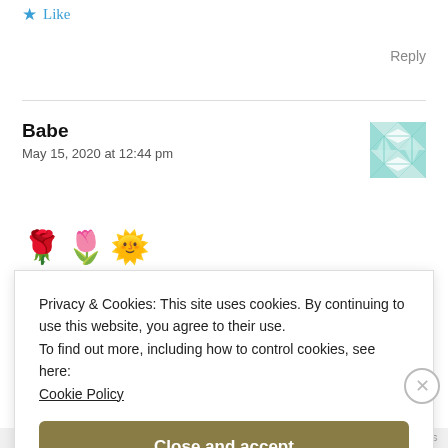Like
Reply
Babe
May 15, 2020 at 12:44 pm
[Figure (illustration): Emoji icons: rose, tulip, sun]
Like
Privacy & Cookies: This site uses cookies. By continuing to use this website, you agree to their use.
To find out more, including how to control cookies, see here:
Cookie Policy
Close and accept